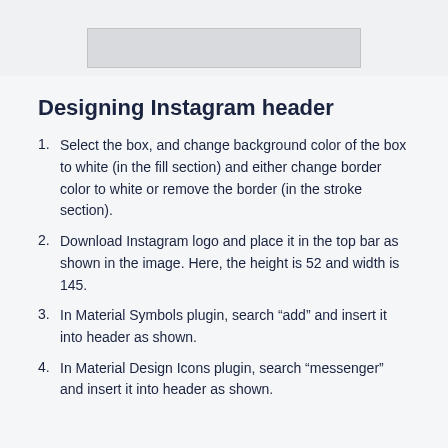[Figure (screenshot): Partial screenshot showing a grey rectangular box UI element at the top of the page]
Designing Instagram header
Select the box, and change background color of the box to white (in the fill section) and either change border color to white or remove the border (in the stroke section).
Download Instagram logo and place it in the top bar as shown in the image. Here, the height is 52 and width is 145.
In Material Symbols plugin, search “add” and insert it into header as shown.
In Material Design Icons plugin, search “messenger” and insert it into header as shown.